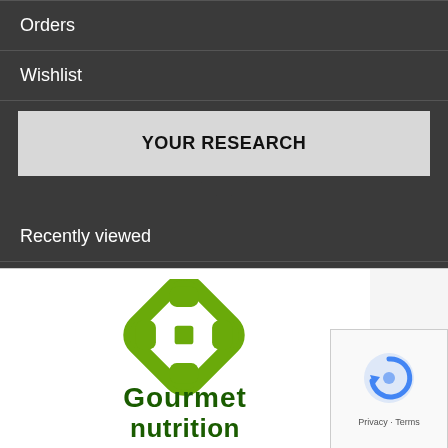Orders
Wishlist
YOUR RESEARCH
Recently viewed
Search
[Figure (logo): Gourmet Nutrition logo with green chain-link cross icon and stylized text 'Gourmet nutrition' in dark green bold font]
[Figure (other): Google reCAPTCHA widget showing circular arrow icon and Privacy/Terms links]